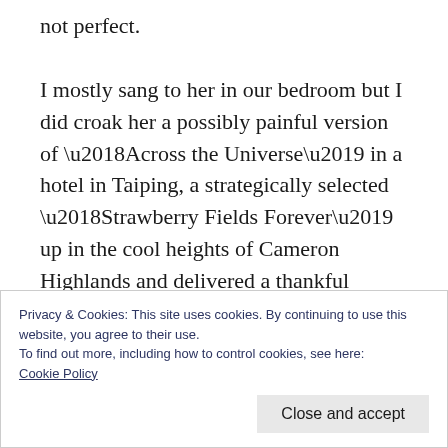not perfect.

I mostly sang to her in our bedroom but I did croak her a possibly painful version of ‘Across the Universe’ in a hotel in Taiping, a strategically selected ‘Strawberry Fields Forever’ up in the cool heights of Cameron Highlands and delivered a thankful version of Wilco’s ‘My Darling’ to her in the hospital delivery room, 7-hours before she made her life-changing entrance into our lives. I sang
Privacy & Cookies: This site uses cookies. By continuing to use this website, you agree to their use.
To find out more, including how to control cookies, see here:
Cookie Policy
Close and accept